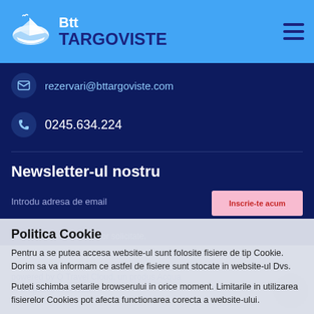Btt TARGOVISTE
rezervari@bttargoviste.com
0245.634.224
Newsletter-ul nostru
Introdu adresa de email
Politica Cookie
Pentru a se putea accesa website-ul sunt folosite fisiere de tip Cookie. Dorim sa va informam ce astfel de fisiere sunt stocate in website-ul Dvs.
Puteti schimba setarile browserului in orice moment. Limitarile in utilizarea fisierelor Cookies pot afecta functionarea corecta a website-ului.
powered by Q Travel Cloud, un produs Acqua
toate drepturile rezervate
Sunt de acord